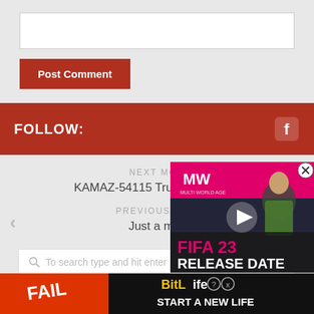[Figure (screenshot): Comment input box (white rectangle)]
Post Comment
FOLLOW:
NEXT MOD
KAMAZ-54115 Truck v14.05.22
PREVIOUS MOD
Just a m…
[Figure (screenshot): FIFA 23 Release Date video thumbnail with MW logo and play button overlay]
To search type and hit enter
[Figure (screenshot): BitLife advertisement banner: FAIL cartoon character with fire emoji and BitLife Start a New Life logo]